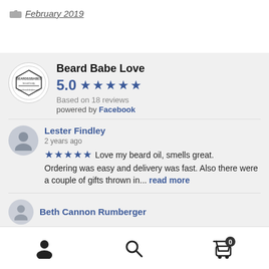February 2019
Beard Babe Love
5.0 ★★★★★
Based on 18 reviews
powered by Facebook
Lester Findley
2 years ago
★★★★★ Love my beard oil, smells great. Ordering was easy and delivery was fast. Also there were a couple of gifts thrown in... read more
Beth Cannon Rumberger
Navigation icons: user, search, cart (0)